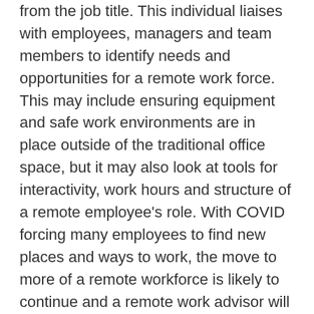from the job title. This individual liaises with employees, managers and team members to identify needs and opportunities for a remote work force. This may include ensuring equipment and safe work environments are in place outside of the traditional office space, but it may also look at tools for interactivity, work hours and structure of a remote employee's role. With COVID forcing many employees to find new places and ways to work, the move to more of a remote workforce is likely to continue and a remote work advisor will be a key part of facilitating that positively.
HR is all about people, but in different roles, the amount of human interaction varies. Depending upon what you like to do, you may feel excited by one of these, or another new and growing role in HR.